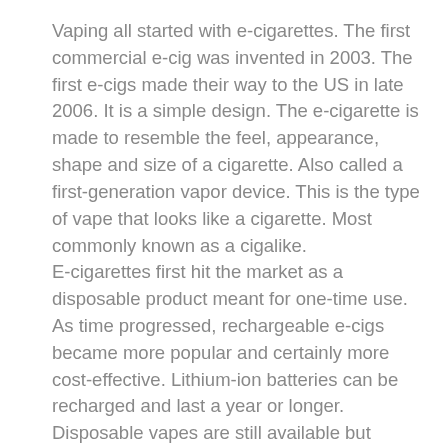Vaping all started with e-cigarettes. The first commercial e-cig was invented in 2003. The first e-cigs made their way to the US in late 2006. It is a simple design. The e-cigarette is made to resemble the feel, appearance, shape and size of a cigarette. Also called a first-generation vapor device. This is the type of vape that looks like a cigarette. Most commonly known as a cigalike.
E-cigarettes first hit the market as a disposable product meant for one-time use. As time progressed, rechargeable e-cigs became more popular and certainly more cost-effective. Lithium-ion batteries can be recharged and last a year or longer. Disposable vapes are still available but usually just in gas stations and c-stores.
E-cigs are the easiest to use devices and typically the first choice for smokers making the switch to vapor. Any beginner's guide to vaping must include e-cig vape kits as a first option. A basic electronic cigarette is